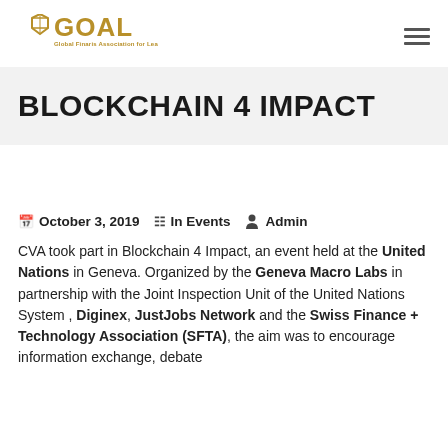GOAL — Global Finaris Association for Leaders
BLOCKCHAIN 4 IMPACT
October 3, 2019   In Events   Admin
CVA took part in Blockchain 4 Impact, an event held at the United Nations in Geneva. Organized by the Geneva Macro Labs in partnership with the Joint Inspection Unit of the United Nations System , Diginex, JustJobs Network and the Swiss Finance + Technology Association (SFTA), the aim was to encourage information exchange, debate